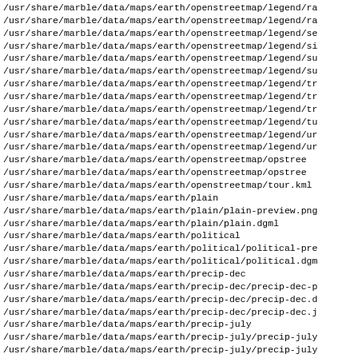/usr/share/marble/data/maps/earth/openstreetmap/legend/ra
/usr/share/marble/data/maps/earth/openstreetmap/legend/ra
/usr/share/marble/data/maps/earth/openstreetmap/legend/se
/usr/share/marble/data/maps/earth/openstreetmap/legend/si
/usr/share/marble/data/maps/earth/openstreetmap/legend/su
/usr/share/marble/data/maps/earth/openstreetmap/legend/su
/usr/share/marble/data/maps/earth/openstreetmap/legend/tr
/usr/share/marble/data/maps/earth/openstreetmap/legend/tr
/usr/share/marble/data/maps/earth/openstreetmap/legend/tr
/usr/share/marble/data/maps/earth/openstreetmap/legend/tu
/usr/share/marble/data/maps/earth/openstreetmap/legend/ur
/usr/share/marble/data/maps/earth/openstreetmap/legend/ur
/usr/share/marble/data/maps/earth/openstreetmap/opstree
/usr/share/marble/data/maps/earth/openstreetmap/opstree
/usr/share/marble/data/maps/earth/openstreetmap/tour.kml
/usr/share/marble/data/maps/earth/plain
/usr/share/marble/data/maps/earth/plain/plain-preview.png
/usr/share/marble/data/maps/earth/plain/plain.dgml
/usr/share/marble/data/maps/earth/political
/usr/share/marble/data/maps/earth/political/political-pre
/usr/share/marble/data/maps/earth/political/political.dgm
/usr/share/marble/data/maps/earth/precip-dec
/usr/share/marble/data/maps/earth/precip-dec/precip-dec-p
/usr/share/marble/data/maps/earth/precip-dec/precip-dec.d
/usr/share/marble/data/maps/earth/precip-dec/precip-dec.j
/usr/share/marble/data/maps/earth/precip-july
/usr/share/marble/data/maps/earth/precip-july/precip-july
/usr/share/marble/data/maps/earth/precip-july/precip-july
/usr/share/marble/data/maps/earth/precip-july/precip-july
/usr/share/marble/data/maps/earth/schagen1689